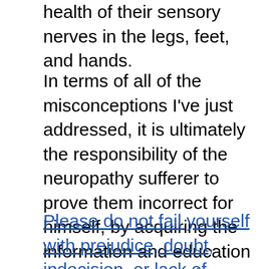health of their sensory nerves in the legs, feet, and hands.
In terms of all of the misconceptions I've just addressed, it is ultimately the responsibility of the neuropathy sufferer to prove them incorrect for himself, by acquiring the information and education necessary to start the healing process on his own. A doctor likely won't hold your hand through this process, nor even point you in the right general direction. Unfortunately, that's just not the way the system as it is set up today works.
Please do not fail yourself with prejudice, doubt, indecision, or lack of action. Recovery is waiting for you, but you alone must take the responsibility and fulfill the minimum requirements to start which